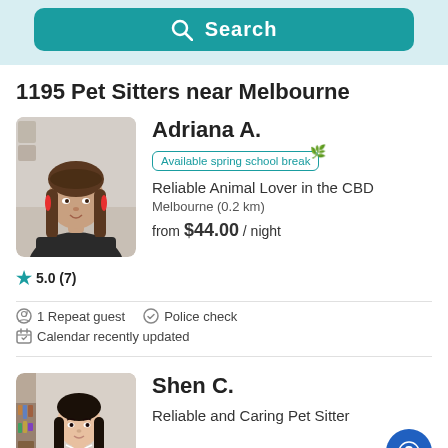[Figure (screenshot): Search button with teal background and magnifying glass icon]
1195 Pet Sitters near Melbourne
[Figure (photo): Profile photo of Adriana A., a woman with long brown hair and red earrings]
5.0 (7)
Adriana A.
Available spring school break
Reliable Animal Lover in the CBD
Melbourne (0.2 km)
from $44.00 / night
1 Repeat guest
Police check
Calendar recently updated
[Figure (photo): Profile photo of Shen C., a woman with straight black hair]
Shen C.
Reliable and Caring Pet Sitter